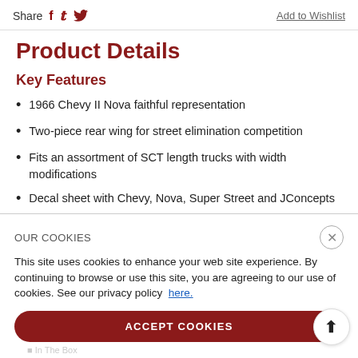Share   Add to Wishlist
Product Details
Key Features
1966 Chevy II Nova faithful representation
Two-piece rear wing for street elimination competition
Fits an assortment of SCT length trucks with width modifications
Decal sheet with Chevy, Nova, Super Street and JConcepts
OUR COOKIES
This site uses cookies to enhance your web site experience. By continuing to browse or use this site, you are agreeing to our use of cookies. See our privacy policy here.
ACCEPT COOKIES